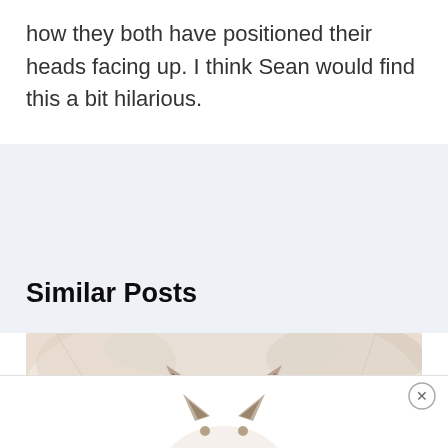how they both have positioned their heads facing up. I think Sean would find this a bit hilarious.
[Figure (photo): Partial photo of a white fluffy cat with dark ears, cropped at the top showing just the top of the head and ears against a light textured background]
Similar Posts
[Figure (photo): Advertisement overlay at bottom showing a white cat peeking up from bottom of screen with a close (X) button]